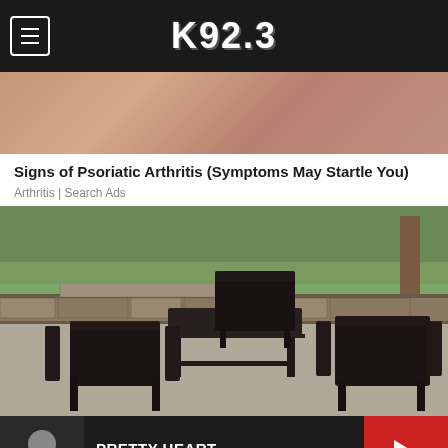K92.3
[Figure (photo): Partial photo of a person's skin/body, top portion of ad]
Signs of Psoriatic Arthritis (Symptoms May Startle You)
Arthritis | Search Ads
[Figure (photo): Outdoor patio with dark wicker furniture including table and chairs, stone wall and grass in background]
PRETTY HEART
PARKER MCCOLLUM